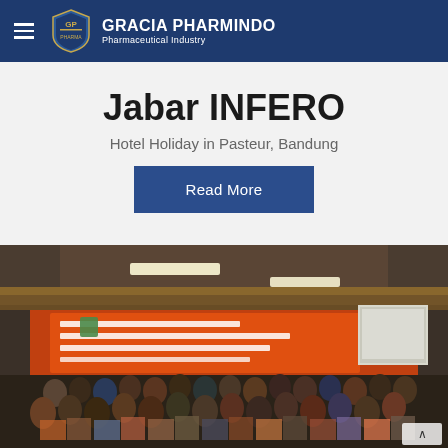GRACIA PHARMINDO Pharmaceutical Industry
Jabar INFERO
Hotel Holiday in Pasteur, Bandung
Read More
[Figure (photo): Group photo of attendees posing in front of an orange banner at a conference/seminar event. The banner reads text related to Jawa Barat and a health-related event. The venue has warm ceiling lighting and a projection screen visible on the right.]